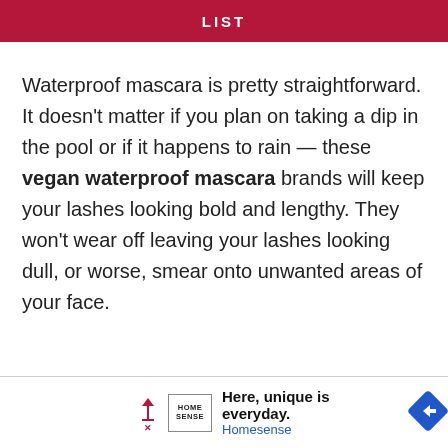LIST
Waterproof mascara is pretty straightforward. It doesn't matter if you plan on taking a dip in the pool or if it happens to rain — these vegan waterproof mascara brands will keep your lashes looking bold and lengthy. They won't wear off leaving your lashes looking dull, or worse, smear onto unwanted areas of your face.
[Figure (other): Advertisement banner for Homesense: 'Here, unique is everyday.' with Homesense logo and a blue diamond arrow icon.]